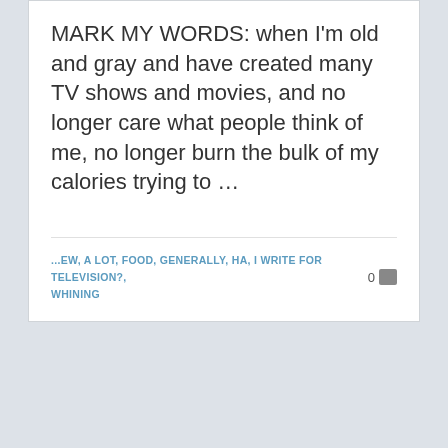MARK MY WORDS: when I'm old and gray and have created many TV shows and movies, and no longer care what people think of me, no longer burn the bulk of my calories trying to ...
...EW, A LOT, FOOD, GENERALLY, HA, I WRITE FOR TELEVISION?, WHINING   0 [comment icon]